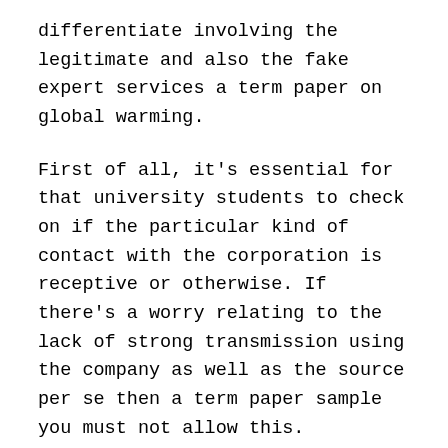differentiate involving the legitimate and also the fake expert services a term paper on global warming.
First of all, it's essential for that university students to check on if the particular kind of contact with the corporation is receptive or otherwise. If there's a worry relating to the lack of strong transmission using the company as well as the source per se then a term paper sample you must not allow this. Customers are needed to remain in endless exposure to industry experts so as eliminate every one of the issues that occur gradually. It's ideal when the unique essay creating solution can provide are living chat or im. It's also required to determine if whatsoever this degree of interaction can be accomplished or else. Client as well as the source needs to manage and converse regarding